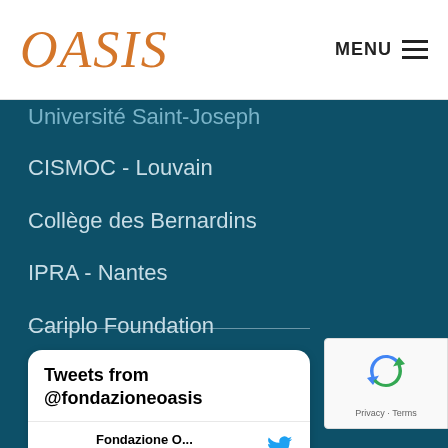OASIS (logo) | MENU
Université Saint-Joseph
CISMOC - Louvain
Collège des Bernardins
IPRA - Nantes
Cariplo Foundation
[Figure (screenshot): Twitter/X embedded widget showing 'Tweets from @fondazioneoasis' with a tweet from Fondazione O... @fond... · Sep 2]
[Figure (screenshot): reCAPTCHA widget showing recycling arrows logo and Privacy · Terms links]